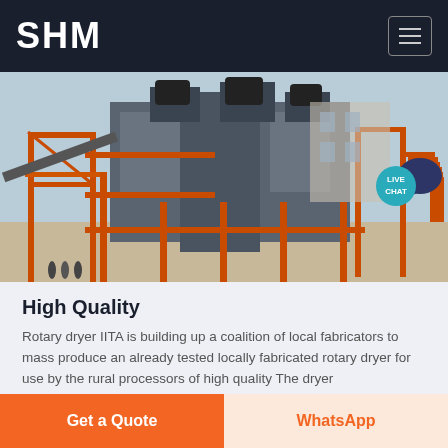SHM
[Figure (photo): Industrial rotary dryer machinery with orange steel frame structure, multiple levels, conveyor belts, and industrial equipment in an outdoor industrial setting]
High Quality
Rotary dryer IITA is building up a coalition of local fabricators to mass produce an already tested locally fabricated rotary dryer for use by the rural processors of high quality The dryer
Get a Quote
WhatsApp